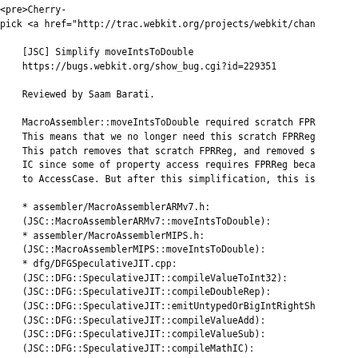<pre>Cherry-pick <a href="http://trac.webkit.org/projects/webkit/chan

    [JSC] Simplify moveIntsToDouble
    https://bugs.webkit.org/show_bug.cgi?id=229351

    Reviewed by Saam Barati.

    MacroAssembler::moveIntsToDouble required scratch FPR
    This means that we no longer need this scratch FPRReg
    This patch removes that scratch FPRReg, and removed s
    IC since some of property access requires FPRReg beca
    to AccessCase. But after this simplification, this is

    * assembler/MacroAssemblerARMv7.h:
    (JSC::MacroAssemblerARMv7::moveIntsToDouble):
    * assembler/MacroAssemblerMIPS.h:
    (JSC::MacroAssemblerMIPS::moveIntsToDouble):
    * dfg/DFGSpeculativeJIT.cpp:
    (JSC::DFG::SpeculativeJIT::compileValueToInt32):
    (JSC::DFG::SpeculativeJIT::compileDoubleRep):
    (JSC::DFG::SpeculativeJIT::emitUntypedOrBigIntRightSh
    (JSC::DFG::SpeculativeJIT::compileValueAdd):
    (JSC::DFG::SpeculativeJIT::compileValueSub):
    (JSC::DFG::SpeculativeJIT::compileMathIC):
    (JSC::DFG::SpeculativeJIT::compileValueNegate):
    (JSC::DFG::SpeculativeJIT::compileValueMul):
    (JSC::DFG::SpeculativeJIT::speculateRealNumber):
    (JSC::DFG::SpeculativeJIT::compileNormalizeMapKey):
    * dfg/DFGSpeculativeJIT.h: